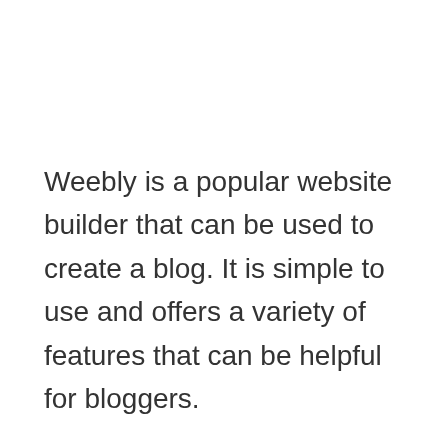Weebly is a popular website builder that can be used to create a blog. It is simple to use and offers a variety of features that can be helpful for bloggers.
For example, Weebly allows users to customize their blog's design and layout and provides tools for managing blog